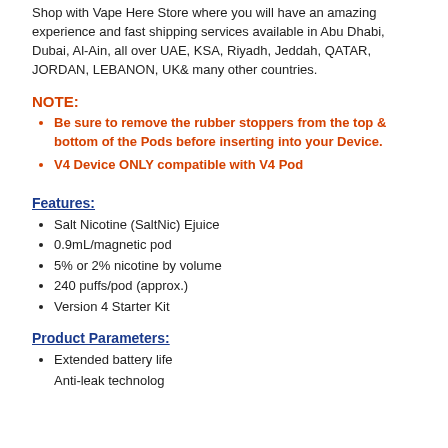Shop with Vape Here Store where you will have an amazing experience and fast shipping services available in Abu Dhabi, Dubai, Al-Ain, all over UAE, KSA, Riyadh, Jeddah, QATAR, JORDAN, LEBANON, UK& many other countries.
NOTE:
Be sure to remove the rubber stoppers from the top & bottom of the Pods before inserting into your Device.
V4 Device ONLY compatible with V4 Pod
Features:
Salt Nicotine (SaltNic) Ejuice
0.9mL/magnetic pod
5% or 2% nicotine by volume
240 puffs/pod (approx.)
Version 4 Starter Kit
Product Parameters:
Extended battery life
Anti-leak technology